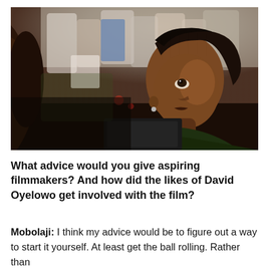[Figure (photo): A young Black girl with braided hair and a small hoop earring looks upward intently, surrounded by a crowd of people at an outdoor event. The image is in color with warm tones.]
What advice would you give aspiring filmmakers? And how did the likes of David Oyelowo get involved with the film?
Mobolaji: I think my advice would be to figure out a way to start it yourself. At least get the ball rolling. Rather than